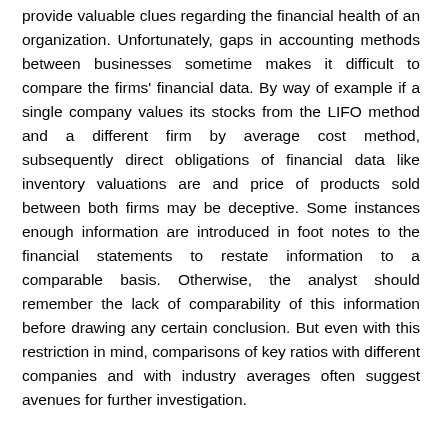provide valuable clues regarding the financial health of an organization. Unfortunately, gaps in accounting methods between businesses sometime makes it difficult to compare the firms' financial data. By way of example if a single company values its stocks from the LIFO method and a different firm by average cost method, subsequently direct obligations of financial data like inventory valuations are and price of products sold between both firms may be deceptive. Some instances enough information are introduced in foot notes to the financial statements to restate information to a comparable basis. Otherwise, the analyst should remember the lack of comparability of this information before drawing any certain conclusion. But even with this restriction in mind, comparisons of key ratios with different companies and with industry averages often suggest avenues for further investigation.